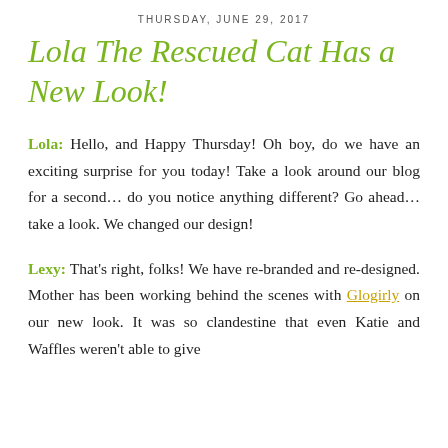THURSDAY, JUNE 29, 2017
Lola The Rescued Cat Has a New Look!
Lola: Hello, and Happy Thursday! Oh boy, do we have an exciting surprise for you today! Take a look around our blog for a second… do you notice anything different? Go ahead… take a look. We changed our design!
Lexy: That's right, folks! We have re-branded and re-designed. Mother has been working behind the scenes with Glogirly on our new look. It was so clandestine that even Katie and Waffles weren't able to give